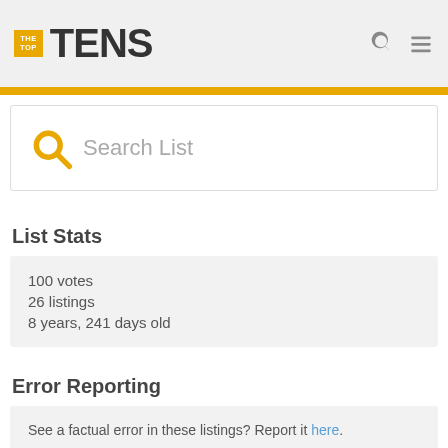THE TOP TENS
[Figure (screenshot): Search List input box with orange magnifying glass icon and placeholder text 'Search List']
List Stats
100 votes
26 listings
8 years, 241 days old
Error Reporting
See a factual error in these listings? Report it here.